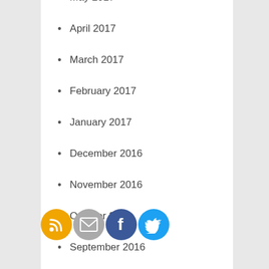May 2017
April 2017
March 2017
February 2017
January 2017
December 2016
November 2016
October 2016
September 2016
August 2016
July 2016
June 2016
[Figure (infographic): Social sharing icons: RSS (orange), Email (gray), Facebook (blue), Twitter (light blue)]